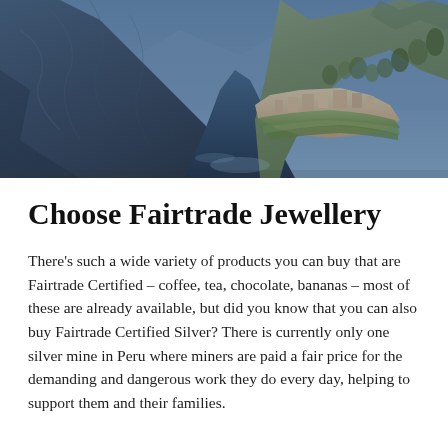[Figure (photo): Aerial/elevated photograph of Machu Picchu, the ancient Inca citadel in Peru, surrounded by dramatic mountain peaks and deep valleys with blue-toned rocky cliffs on the left and green terraced ruins on the right.]
Choose Fairtrade Jewellery
There's such a wide variety of products you can buy that are Fairtrade Certified – coffee, tea, chocolate, bananas – most of these are already available, but did you know that you can also buy Fairtrade Certified Silver? There is currently only one silver mine in Peru where miners are paid a fair price for the demanding and dangerous work they do every day, helping to support them and their families.